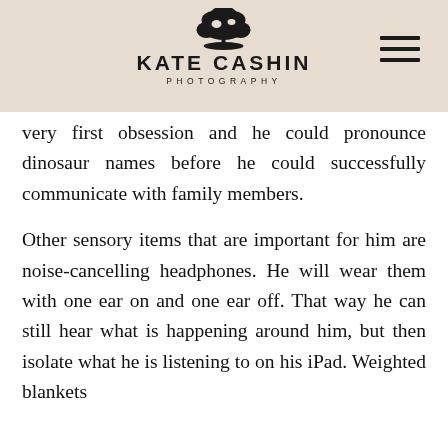[Figure (logo): Kate Cashin Photography logo with tree silhouette above the brand name]
very first obsession and he could pronounce dinosaur names before he could successfully communicate with family members.
Other sensory items that are important for him are noise-cancelling headphones. He will wear them with one ear on and one ear off. That way he can still hear what is happening around him, but then isolate what he is listening to on his iPad. Weighted blankets